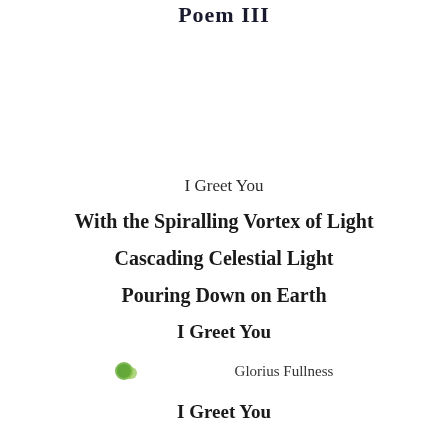Poem III
I Greet You
With the Spiralling Vortex of Light
Cascading Celestial Light
Pouring Down on Earth
I Greet You
[Figure (illustration): Small image labeled Glorius Fullness with a green and earth-toned circular illustration]
I Greet You